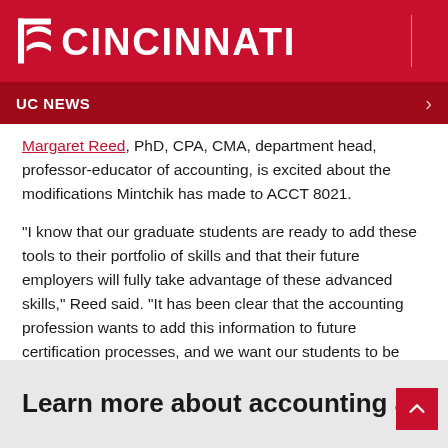[Figure (logo): University of Cincinnati logo — UC wordmark with bearcat in white on red background, with search icon]
UC NEWS
Margaret Reed, PhD, CPA, CMA, department head, professor-educator of accounting, is excited about the modifications Mintchik has made to ACCT 8021.
“I know that our graduate students are ready to add these tools to their portfolio of skills and that their future employers will fully take advantage of these advanced skills,” Reed said. “It has been clear that the accounting profession wants to add this information to future certification processes, and we want our students to be prepared to succeed.”
Learn more about accounting at